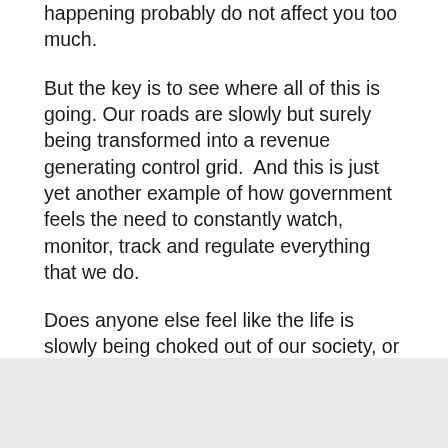happening probably do not affect you too much.
But the key is to see where all of this is going. Our roads are slowly but surely being transformed into a revenue generating control grid.  And this is just yet another example of how government feels the need to constantly watch, monitor, track and regulate everything that we do.
Does anyone else feel like the life is slowly being choked out of our society, or am I alone?